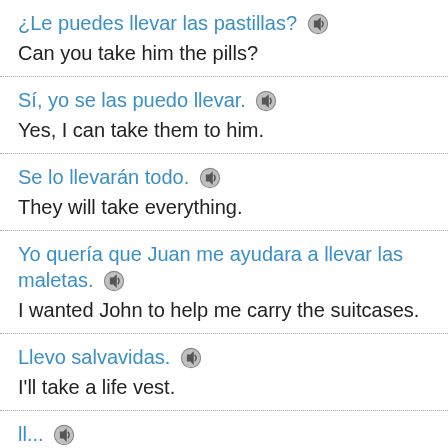¿Le puedes llevar las pastillas? [speaker icon]
Can you take him the pills?
Sí, yo se las puedo llevar. [speaker icon]
Yes, I can take them to him.
Se lo llevarán todo. [speaker icon]
They will take everything.
Yo quería que Juan me ayudara a llevar las maletas. [speaker icon]
I wanted John to help me carry the suitcases.
Llevo salvavidas. [speaker icon]
I'll take a life vest.
Llevo... [speaker icon] (partial)